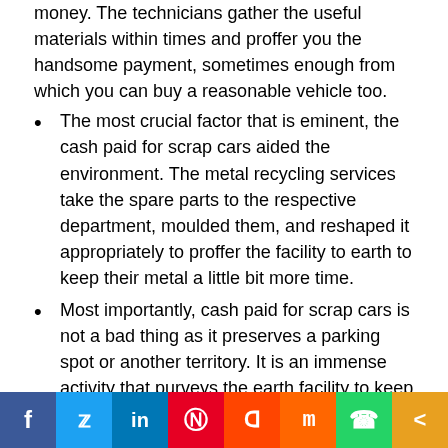money. The technicians gather the useful materials within times and proffer you the handsome payment, sometimes enough from which you can buy a reasonable vehicle too.
The most crucial factor that is eminent, the cash paid for scrap cars aided the environment. The metal recycling services take the spare parts to the respective department, moulded them, and reshaped it appropriately to proffer the facility to earth to keep their metal a little bit more time.
Most importantly, cash paid for scrap cars is not a bad thing as it preserves a parking spot or another territory. It is an immense activity that purveys the earth facility to keep it clean.
Lastly, if you are required to cash paid for scrap cars so there are many scrap agencies which are accepting scrap
[Figure (infographic): Social media sharing bar with icons for Facebook, Twitter, LinkedIn, Pinterest, Reddit, Mix, WhatsApp, and Share]